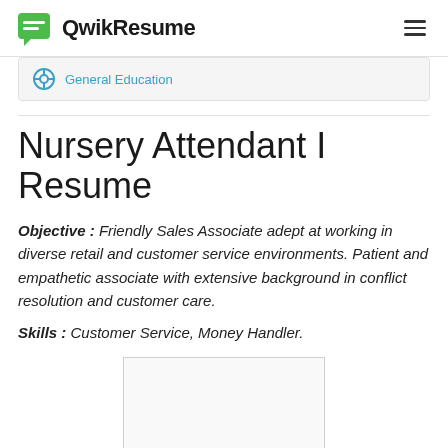QwikResume
General Education
Nursery Attendant I Resume
Objective : Friendly Sales Associate adept at working in diverse retail and customer service environments. Patient and empathetic associate with extensive background in conflict resolution and customer care.
Skills : Customer Service, Money Handler.
[Figure (other): Empty preview/placeholder box with light gray background and border]